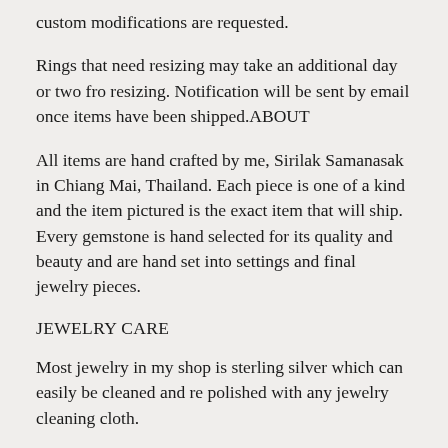custom modifications are requested.
Rings that need resizing may take an additional day or two fro resizing. Notification will be sent by email once items have been shipped.ABOUT
All items are hand crafted by me, Sirilak Samanasak in Chiang Mai, Thailand. Each piece is one of a kind and the item pictured is the exact item that will ship. Every gemstone is hand selected for its quality and beauty and are hand set into settings and final jewelry pieces.
JEWELRY CARE
Most jewelry in my shop is sterling silver which can easily be cleaned and re polished with any jewelry cleaning cloth.
Silver is a soft metal and can become damaged if stored in disarray or with other pieces of jewelry. To prevent this